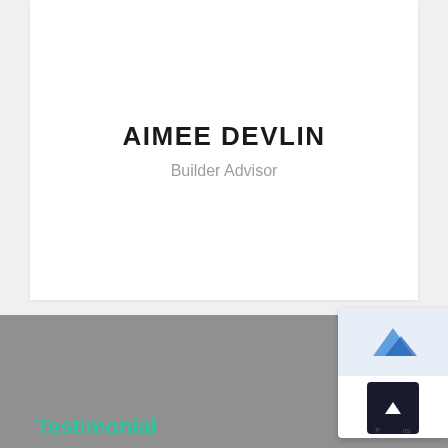AIMEE DEVLIN
Builder Advisor
Testimonial
[Figure (screenshot): Browser widget overlay with a blue arrow/logo icon and a dark upload/scroll-to-top button]